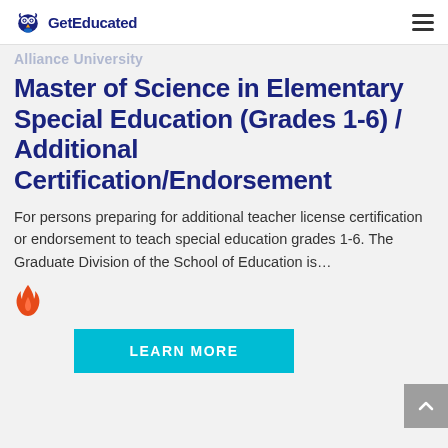GetEducated
Alliance University
Master of Science in Elementary Special Education (Grades 1-6) / Additional Certification/Endorsement
For persons preparing for additional teacher license certification or endorsement to teach special education grades 1-6. The Graduate Division of the School of Education is…
[Figure (illustration): Flame/fire icon in red-orange color indicating a popular or trending item]
LEARN MORE